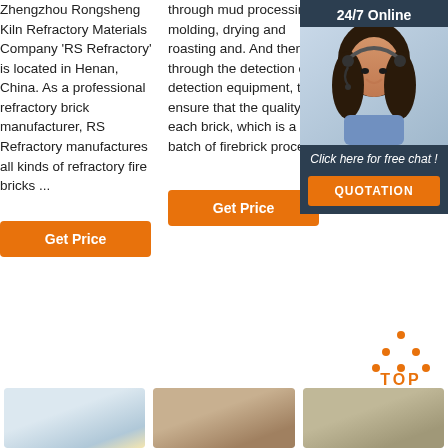Zhengzhou Rongsheng Kiln Refractory Materials Company 'RS Refractory' is located in Henan, China. As a professional refractory brick manufacturer, RS Refractory manufactures all kinds of refractory fire bricks ...
through mud processing, molding, drying and roasting and. And then through the detection of detection equipment, to ensure that the quality of each brick, which is a batch of firebrick process.
hot blast stove anti-thermal shock, low-creep high alumina series. 5. Anti-thermal fireclay hot bla
[Figure (photo): Customer service representative with headset, 24/7 Online chat widget with dark background, orange QUOTATION button]
Get Price
Get Price
Get Price
[Figure (other): Orange dotted triangle with TOP label below]
[Figure (photo): Three product images at bottom: ceramic/refractory brick products]